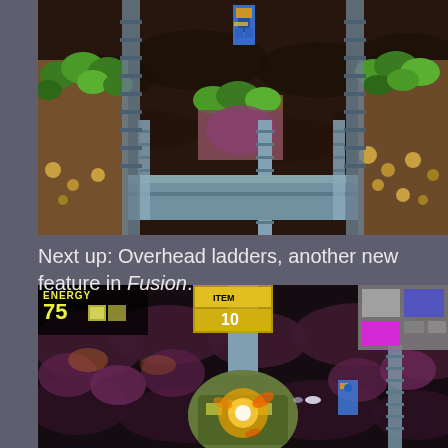[Figure (screenshot): Video game screenshot from Metroid Fusion showing a side-scrolling platformer scene with alien creatures, rocky columns with green growths, metal ladders/poles in the center, and a character sprite at the top center. Dark brownish-black background with alien organic textures.]
Next up: Overhead ladders, another new feature in Fusion.
[Figure (screenshot): Video game screenshot from Metroid Fusion showing combat scene with a large boss enemy, explosion effects, energy bar showing 75, a minimap in top right corner. HUD shows ENERGY 75 and number 10. Dark background with alien organic rock formations.]